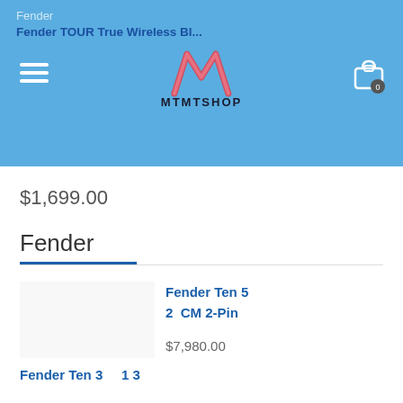Fender
Fender TOUR True Wireless Bl...
[Figure (logo): MTMTSHOP logo with pink M shape and shopping bag icon with 0 badge]
$1,699.00
Fender
Fender Ten 5 2 CM 2-Pin
$7,980.00
Fender Ten 3 1 3